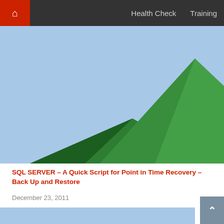Home  Health Check  Training
[Figure (illustration): Decorative placeholder image with two green triangular mountain shapes on a light blue background]
SQL SERVER – A Quick Script for Point in Time Recovery – Back Up and Restore
December 23, 2011
[Figure (illustration): Partial placeholder image with light blue background, bottom of page]